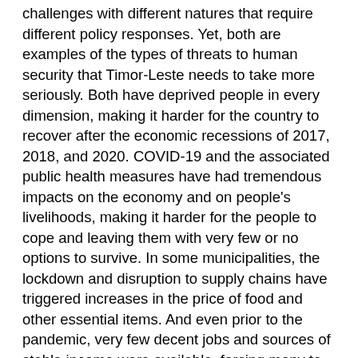challenges with different natures that require different policy responses. Yet, both are examples of the types of threats to human security that Timor-Leste needs to take more seriously. Both have deprived people in every dimension, making it harder for the country to recover after the economic recessions of 2017, 2018, and 2020. COVID-19 and the associated public health measures have had tremendous impacts on the economy and on people's livelihoods, making it harder for the people to cope and leaving them with very few or no options to survive. In some municipalities, the lockdown and disruption to supply chains have triggered increases in the price of food and other essential items. And even prior to the pandemic, very few decent jobs and sources of stable income were available, forcing many to turn to informal economic activities to help them cope with the rapidly changing economic and social landscape. Lacking secure jobs and a stable income, when the lockdown was imposed they were among those worst affected.
The cyclone and the floods have made things much worse for Timorese. In affected areas, they have deprived people in every aspect, making it more challenging to implement public health measures. At this point, thousands of people remain without a roof over their heads, and are depending on contributions from other Timorese and the help of...